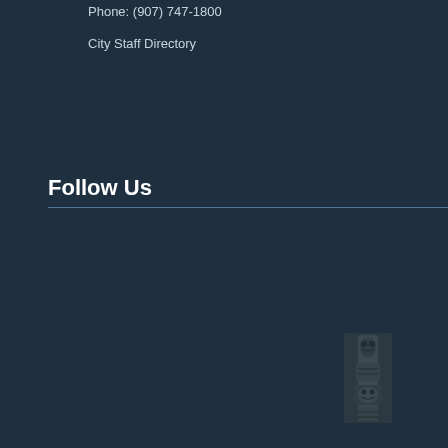Phone: (907) 747-1800
City Staff Directory
Follow Us
[Figure (photo): Small vertical photograph of a totem pole with carved indigenous artwork, rendered in dark tones against the dark teal background]